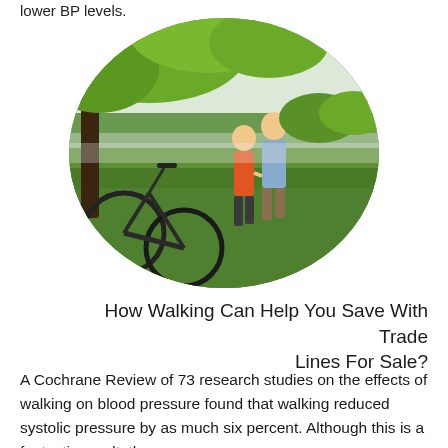lower BP levels.
[Figure (photo): An older couple walking hand-in-hand through a grassy field near a lake, with a bicycle leaning against a tree in the foreground and lush green trees in the background. The image is cropped in an oval shape.]
How Walking Can Help You Save With Trade Lines For Sale?
A Cochrane Review of 73 research studies on the effects of walking on blood pressure found that walking reduced systolic pressure by as much six percent. Although this is a fantastic result, the